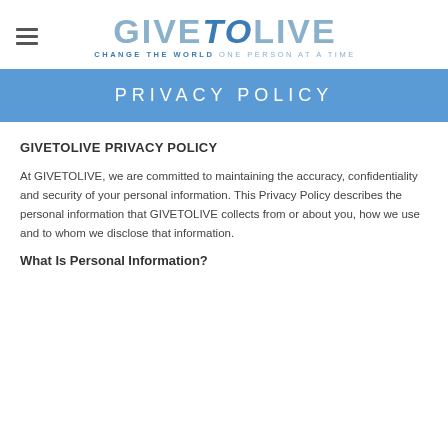[Figure (logo): GIVETOLIVE logo with tagline CHANGE THE WORLD ONE PERSON AT A TIME]
PRIVACY POLICY
GIVETOLIVE PRIVACY POLICY
At GIVETOLIVE, we are committed to maintaining the accuracy, confidentiality and security of your personal information. This Privacy Policy describes the personal information that GIVETOLIVE collects from or about you, how we use and to whom we disclose that information.
What Is Personal Information?